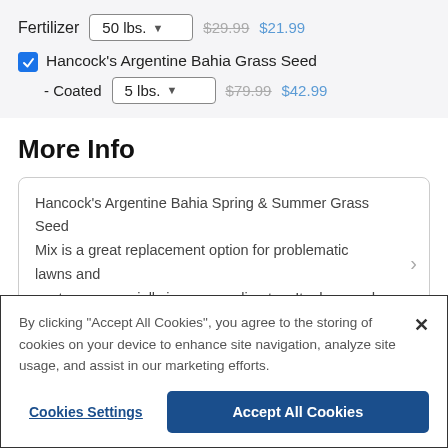Fertilizer  50 lbs.  $29.99  $21.99
Hancock's Argentine Bahia Grass Seed - Coated  5 lbs.  $79.99  $42.99
More Info
Hancock's Argentine Bahia Spring & Summer Grass Seed Mix is a great replacement option for problematic lawns and pastures, especially in warmer climates. Its deep and dense
By clicking "Accept All Cookies", you agree to the storing of cookies on your device to enhance site navigation, analyze site usage, and assist in our marketing efforts.
Cookies Settings
Accept All Cookies